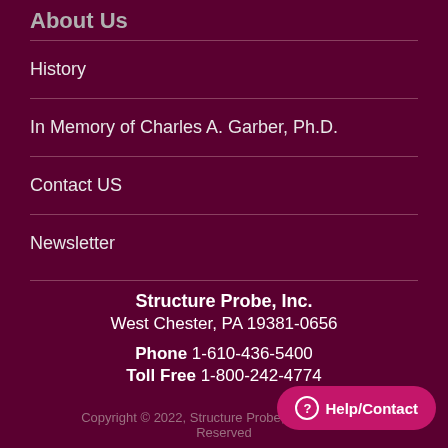About Us
History
In Memory of Charles A. Garber, Ph.D.
Contact US
Newsletter
Structure Probe, Inc.
West Chester, PA 19381-0656
Phone 1-610-436-5400
Toll Free 1-800-242-4774
Copyright © 2022, Structure Probe, Inc. All Rights Reserved